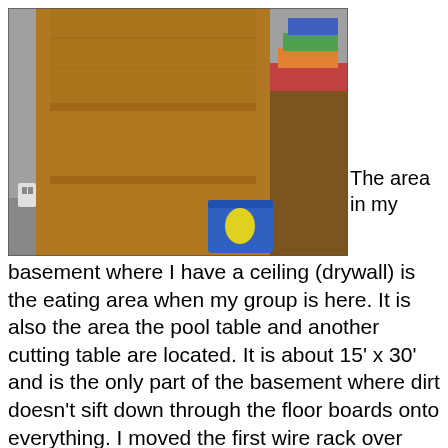[Figure (photo): A wooden bookshelf/cabinet with open shelves photographed in a basement or workshop area. A desk with colorful materials is visible in the background, along with a blue plastic storage container on the floor.]
The area in my basement where I have a ceiling (drywall) is the eating area when my group is here.  It is also the area the pool table and another cutting table are located.  It is about 15' x 30' and is the only part of the basement where dirt doesn't sift down through the floor boards onto everything.  I moved the first wire rack over there last week, one was already in that area, and there was just one more piece of wall space for another shelf unit.  This piece is from my quilt shop in the early 1980s.  I forgot how heavy it